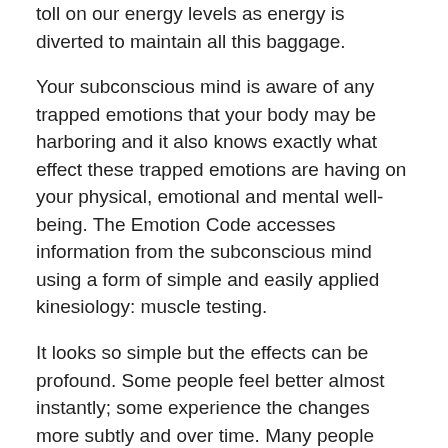toll on our energy levels as energy is diverted to maintain all this baggage.
Your subconscious mind is aware of any trapped emotions that your body may be harboring and it also knows exactly what effect these trapped emotions are having on your physical, emotional and mental well-being. The Emotion Code accesses information from the subconscious mind using a form of simple and easily applied kinesiology: muscle testing.
It looks so simple but the effects can be profound. Some people feel better almost instantly; some experience the changes more subtly and over time. Many people report feeling “lighter” after an Emotion Code session, as if a weight has been lifted from them.
The Emotion Code can be effective in releasing chronic pain, relationships blocks, depression, and anxiety, among many other things. The sessions can be done in